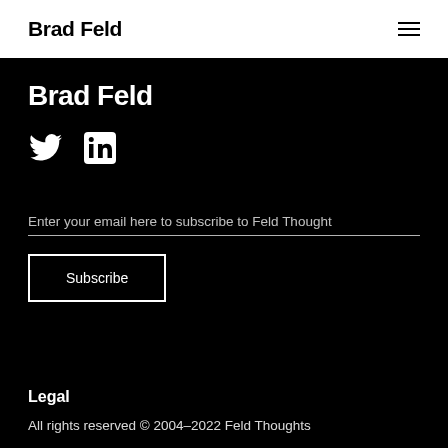Brad Feld
Brad Feld
[Figure (illustration): Twitter bird icon and LinkedIn 'in' icon in white on black background]
Enter your email here to subscribe to Feld Thought
Subscribe
Legal
All rights reserved © 2004–2022 Feld Thoughts